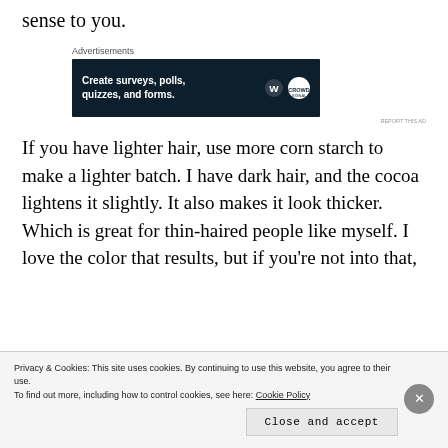sense to you.
[Figure (other): Advertisement banner: 'Create surveys, polls, quizzes, and forms.' with WordPress and Crowdsignal logos on dark navy background]
If you have lighter hair, use more corn starch to make a lighter batch. I have dark hair, and the cocoa lightens it slightly. It also makes it look thicker. Which is great for thin-haired people like myself. I love the color that results, but if you're not into that,
Privacy & Cookies: This site uses cookies. By continuing to use this website, you agree to their use. To find out more, including how to control cookies, see here: Cookie Policy
Close and accept